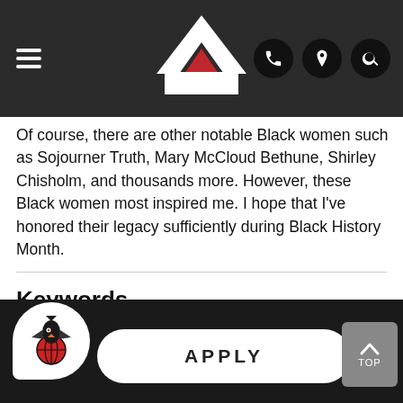Navigation bar with hamburger menu, logo, phone, location, and search icons
Of course, there are other notable Black women such as Sojourner Truth, Mary McCloud Bethune, Shirley Chisholm, and thousands more. However, these Black women most inspired me. I hope that I've honored their legacy sufficiently during Black History Month.
Keywords
Presidents Blog
Footer with mascot logo, APPLY button, and TOP navigation button